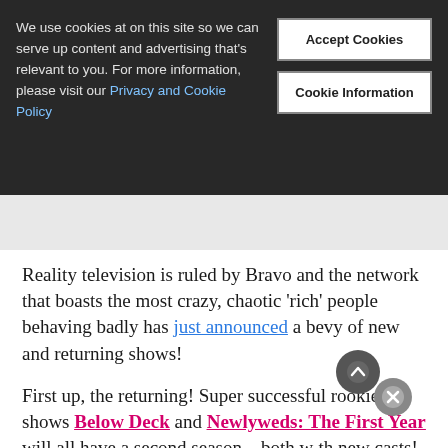[Figure (screenshot): Cookie consent banner overlay on a dark background website header. Contains cookie notice text with Privacy and Cookie Policy link, and two buttons: Accept Cookies and Cookie Information.]
We use cookies at on this site so we can serve up content and advertising that's relevant to you. For more information, please visit our Privacy and Cookie Policy
Reality television is ruled by Bravo and the network that boasts the most crazy, chaotic 'rich' people behaving badly has just announced a bevy of new and returning shows!
First up, the returning! Super successful rookie shows Below Deck and Newlyweds: The First Year will all have a second season – both with new casts! Thicker Than Water and the surprise hit Blood, Sweet, and Heels will also have